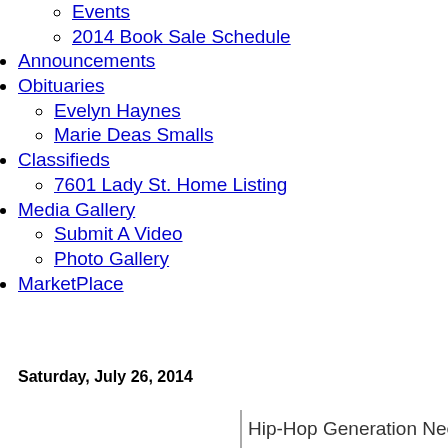2014 Book Sale Schedule
Announcements
Obituaries
Evelyn Haynes
Marie Deas Smalls
Classifieds
7601 Lady St. Home Listing
Media Gallery
Submit A Video
Photo Gallery
MarketPlace
Saturday, July 26, 2014
Hip-Hop Generation Needs to Step